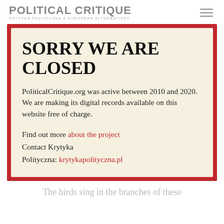POLITICAL CRITIQUE
KRYTYKA POLITYCZNA & EUROPEAN ALTERNATIVES
SORRY WE ARE CLOSED
PoliticalCritique.org was active between 2010 and 2020.  We are making its digital records available on this website free of charge.
Find out more about the project
Contact Krytyka Polityczna: krytykapolityczna.pl
The birds sing in the branches of these